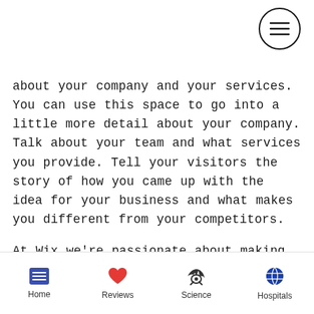[Figure (other): Hamburger menu button (three horizontal lines inside a circle) in the top-right corner]
about your company and your services. You can use this space to go into a little more detail about your company. Talk about your team and what services you provide. Tell your visitors the story of how you came up with the idea for your business and what makes you different from your competitors.

At Wix we're passionate about making templates that allow you to build fabulous websites and it's all thanks to the support and feedback from users like you! Keep up to date with New Releases and what's
Home | Reviews | Science | Hospitals